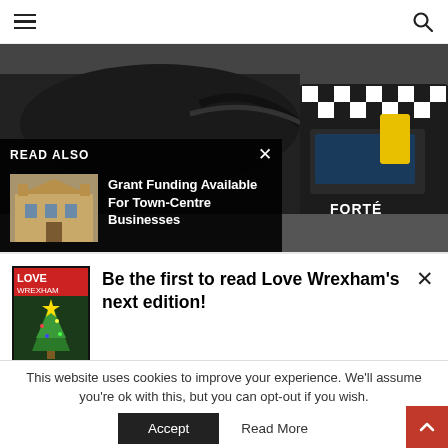Navigation bar with hamburger menu and search icon
[Figure (photo): Car engine bay with a machine labeled FORTE connected via cables, in a garage setting]
READ ALSO
[Figure (photo): Thumbnail of a town centre building, related to Grant Funding article]
Grant Funding Available For Town-Centre Businesses
[Figure (photo): Love Wrexham magazine cover with Christmas tree]
Be the first to read Love Wrexham's next edition!
Sign up here and we'll email you when it's online
This website uses cookies to improve your experience. We'll assume you're ok with this, but you can opt-out if you wish.